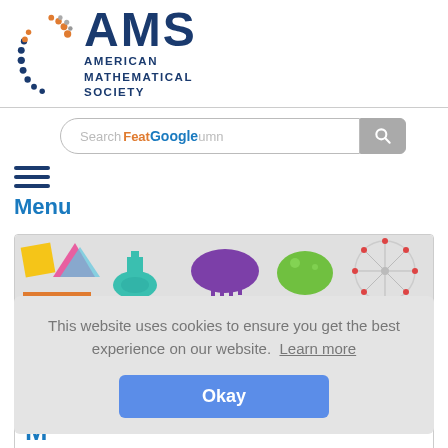[Figure (logo): American Mathematical Society logo with colorful dot arc and AMS text in navy blue]
Search Feature Column | Search via Google
Menu
[Figure (illustration): Feature Column banner image with colorful math-related illustrations: geometric shapes, lab flask, brush/comb, green blob, and wheel diagram]
This website uses cookies to ensure you get the best experience on our website. Learn more
Okay